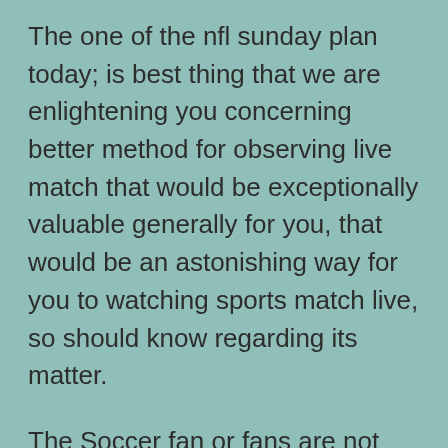The one of the nfl sunday plan today; is best thing that we are enlightening you concerning better method for observing live match that would be exceptionally valuable generally for you, that would be an astonishing way for you to watching sports match live, so should know regarding its matter.
The Soccer fan or fans are not the same as other for the explanation that in an external arena where the group has a lot of freedom, they have so a great deal of choices to think of their reasonable types of activities to help their groups. Assuming you have seen soccer